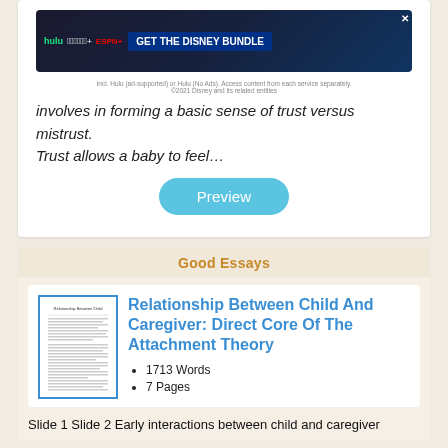[Figure (screenshot): Disney Bundle advertisement banner showing Hulu, Disney+, ESPN+ logos with CTA button 'GET THE DISNEY BUNDLE']
involves in forming a basic sense of trust versus mistrust. Trust allows a baby to feel…
Preview
Good Essays
[Figure (screenshot): Thumbnail preview of essay document page]
Relationship Between Child And Caregiver: Direct Core Of The Attachment Theory
1713 Words
7 Pages
Slide 1 Slide 2 Early interactions between child and caregiver